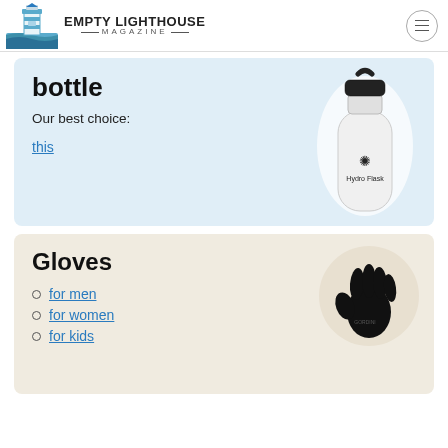EMPTY LIGHTHOUSE MAGAZINE
bottle
Our best choice:
this
[Figure (photo): White Hydro Flask water bottle with black flex cap and handle]
Gloves
[Figure (photo): Black winter glove]
for men
for women
for kids